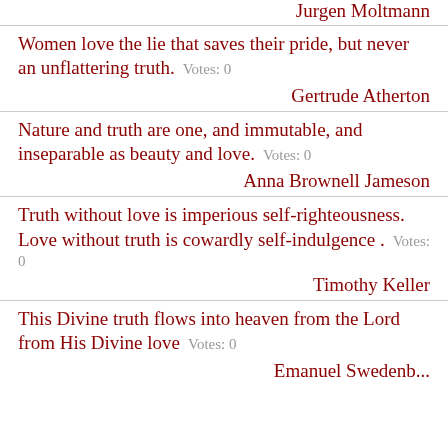Jurgen Moltmann
Women love the lie that saves their pride, but never an unflattering truth.  Votes: 0
Gertrude Atherton
Nature and truth are one, and immutable, and inseparable as beauty and love.  Votes: 0
Anna Brownell Jameson
Truth without love is imperious self-righteousness. Love without truth is cowardly self-indulgence .  Votes: 0
Timothy Keller
This Divine truth flows into heaven from the Lord from His Divine love  Votes: 0
Emanuel Swedenborg